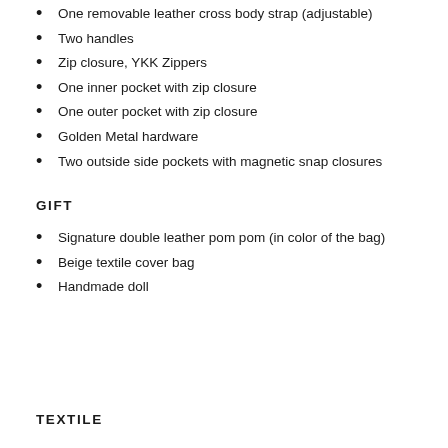One removable leather cross body strap (adjustable)
Two handles
Zip closure, YKK Zippers
One inner pocket with zip closure
One outer pocket with zip closure
Golden Metal hardware
Two outside side pockets with magnetic snap closures
GIFT
Signature double leather pom pom (in color of the bag)
Beige textile cover bag
Handmade doll
TEXTILE